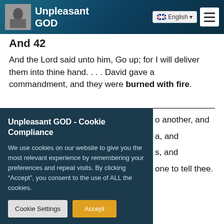Unpleasant GOD
And 42
And the Lord said unto him, Go up; for I will deliver them into thine hand. . . . David gave a commandment, and they were burned with fire.
Unpleasant GOD - Cookie Compliance
We use cookies on our website to give you the most relevant experience by remembering your preferences and repeat visits. By clicking “Accept”, you consent to the use of ALL the cookies.
Cookie Settings | Accept
o another, and a, and s, and one to tell thee.